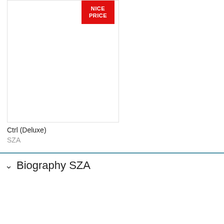[Figure (other): Album cover thumbnail with a red 'NICE PRICE' badge/sticker in the upper portion. The album art is largely white/blank visible area below the badge.]
Ctrl (Deluxe)
SZA
Biography SZA